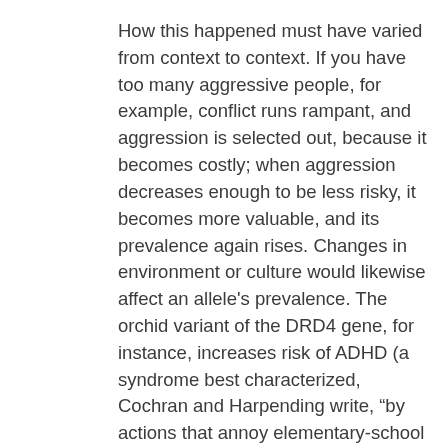How this happened must have varied from context to context. If you have too many aggressive people, for example, conflict runs rampant, and aggression is selected out, because it becomes costly; when aggression decreases enough to be less risky, it becomes more valuable, and its prevalence again rises. Changes in environment or culture would likewise affect an allele's prevalence. The orchid variant of the DRD4 gene, for instance, increases risk of ADHD (a syndrome best characterized, Cochran and Harpending write, “by actions that annoy elementary-school teachers”). Yet attentional restlessness can serve people well in environments that reward sensitivity to new stimuli. The current growth of multitasking, for instance, may help select for just such attentional agility. Complain all you want that it’s an increasingly ADHD world these days—but to judge by the spread of DRD4’s risk allele, it’s been an increasingly ADHD world for about